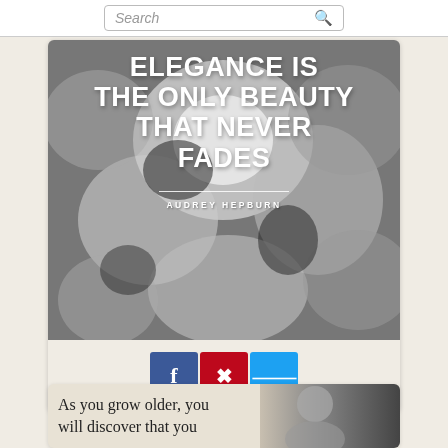[Figure (screenshot): Search bar with search icon at top of page]
[Figure (illustration): Black and white floral background image with quote overlay: ELEGANCE IS THE ONLY BEAUTY THAT NEVER FADES — AUDREY HEPBURN, with social sharing buttons (Facebook, Pinterest, Twitter) below]
[Figure (photo): Partial card showing text 'As you grow older, you will discover that you' with a black and white portrait photo]